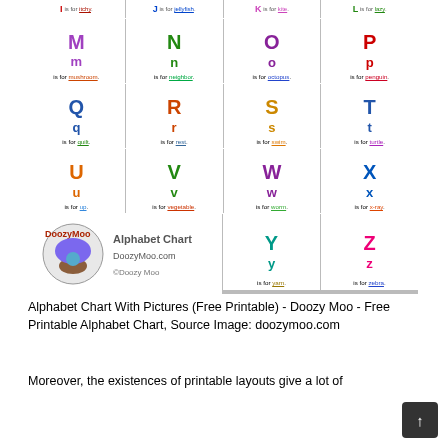[Figure (illustration): Alphabet chart showing letters M through Z with cartoon illustrations. Each cell contains uppercase and lowercase letters in bold colors with a word and underline. DoozyMoo branding logo with mushroom character. Letters shown: I (itchy), J (jellyfish), K (kite), L (lazy), M (mushroom), N (neighbor), O (octopus), P (penguin), Q (quilt), R (rest), S (swim), T (turtle), U (up), V (vegetable), W (worm), X (x-ray), Y (yarn), Z (zebra).]
Alphabet Chart With Pictures (Free Printable) - Doozy Moo - Free Printable Alphabet Chart, Source Image: doozymoo.com
Moreover, the existences of printable layouts give a lot of